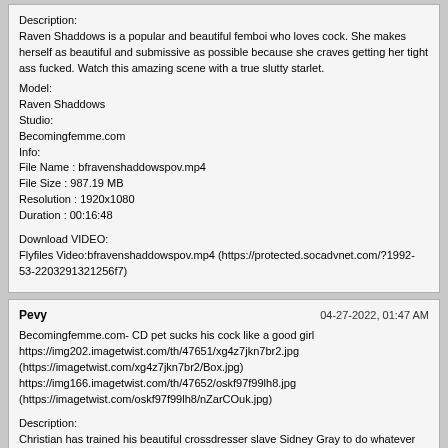Description:
Raven Shaddows is a popular and beautiful femboi who loves cock. She makes herself as beautiful and submissive as possible because she craves getting her tight ass fucked. Watch this amazing scene with a true slutty starlet.
Model:
Raven Shaddows
Studio:
Becomingfemme.com
Info:
File Name : bfravenshaddowspov.mp4
File Size : 987.19 MB
Resolution : 1920x1080
Duration : 00:16:48

Download VIDEO:
Flyfiles Video:bfravenshaddowspov.mp4 (https://protected.socadvnet.com/?1992-53-2203291321256f7)
Pevy
04-27-2022, 01:47 AM
Becomingfemme.com- CD pet sucks his cock like a good girl
https://img202.imagetwist.com/th/47651/xg4z7jkn7br2.jpg
(https://imagetwist.com/xg4z7jkn7br2/Box.jpg)
https://img166.imagetwist.com/th/47652/oskf97f99lh8.jpg
(https://imagetwist.com/oskf97f99lh8/nZarCOuk.jpg)

Description:
Christian has trained his beautiful crossdresser slave Sidney Gray to do whatever he wants. She is his to command and order around. He collars her and then stuffs his cock down her throat before having her lick his ass too This sexy blonde sissy is super obedient and loves cum too
Model:
Sidney Gray
Studio:
Becomingfemme.com
Info: